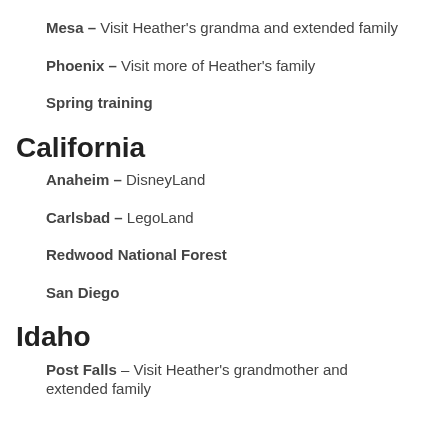Mesa – Visit Heather's grandma and extended family
Phoenix – Visit more of Heather's family
Spring training
California
Anaheim – DisneyLand
Carlsbad – LegoLand
Redwood National Forest
San Diego
Idaho
Post Falls – Visit Heather's grandmother and extended family